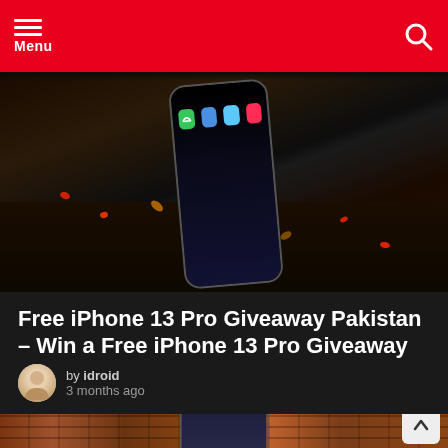Menu
[Figure (photo): iPhone held over dark soil with red petals and leaves, showing home screen with app icons]
Free iPhone 13 Pro Giveaway Pakistan – Win a Free iPhone 13 Pro Giveaway Alert
by idroid
3 months ago
[Figure (photo): iPhone 13 Pro against a brick wall showing home screen with widgets and app icons]